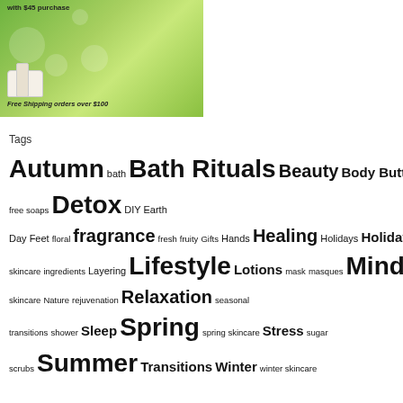[Figure (photo): Advertisement banner showing a woman holding a green apple with green leafy background and a skincare product jar. Text reads 'with $45 purchase' and 'Free Shipping orders over $100']
Tags
Autumn bath Bath Rituals Beauty Body Butters citrus Cremes detergent-free soaps Detox DIY Earth Day Feet floral fragrance fresh fruity Gifts Hands Healing Holidays Holiday Skincare holistic skincare ingredients Layering Lifestyle Lotions mask masques Mind Body Spirit moisturizers natural skincare Nature rejuvenation Relaxation seasonal transitions shower Sleep Spring spring skincare Stress sugar scrubs Summer Transitions Winter winter skincare